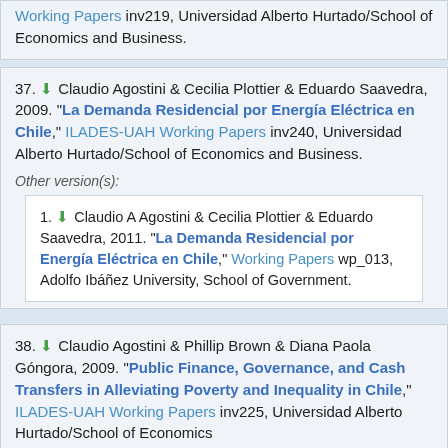Working Papers inv219, Universidad Alberto Hurtado/School of Economics and Business.
37. Claudio Agostini & Cecilia Plottier & Eduardo Saavedra, 2009. "La Demanda Residencial por Energía Eléctrica en Chile," ILADES-UAH Working Papers inv240, Universidad Alberto Hurtado/School of Economics and Business.
Other version(s):
1. Claudio A Agostini & Cecilia Plottier & Eduardo Saavedra, 2011. "La Demanda Residencial por Energía Eléctrica en Chile," Working Papers wp_013, Adolfo Ibáñez University, School of Government.
38. Claudio Agostini & Phillip Brown & Diana Paola Góngora, 2009. "Public Finance, Governance, and Cash Transfers in Alleviating Poverty and Inequality in Chile," ILADES-UAH Working Papers inv225, Universidad Alberto Hurtado/School of Economics